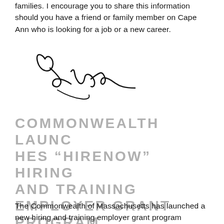families. I encourage you to share this information should you have a friend or family member on Cape Ann who is looking for a job or a new career.
[Figure (illustration): A handwritten signature in black ink, stylized cursive signature.]
COMMONWEALTH LAUNCHES “HIRENOW” HIRING AND TRAINING EMPLOYER GRANT PROGRAM
The Commonwealth of Massachusetts has launched a new hiring and training employer grant program